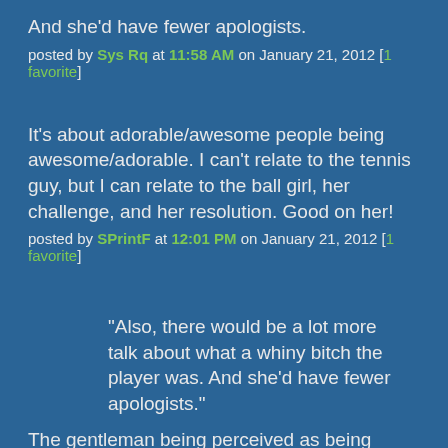And she'd have fewer apologists.
posted by Sys Rq at 11:58 AM on January 21, 2012 [1 favorite]
It's about adorable/awesome people being awesome/adorable. I can't relate to the tennis guy, but I can relate to the ball girl, her challenge, and her resolution. Good on her!
posted by SPrintF at 12:01 PM on January 21, 2012 [1 favorite]
"Also, there would be a lot more talk about what a whiny bitch the player was. And she'd have fewer apologists."
The gentleman being perceived as being insufficiently manly compared to a young woman seems to have a lot of people talking about what a primadonna he is and precious few apologists in this thread. I suspect that if the genders